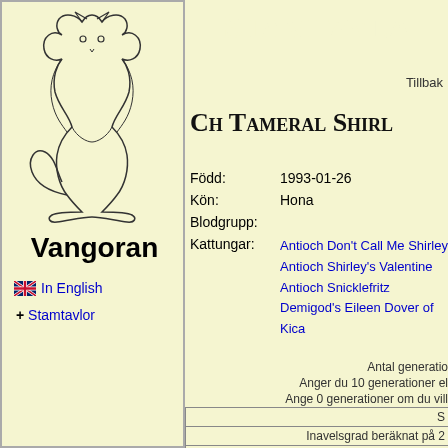Stamtavla
[Figure (illustration): Line drawing of a sitting cat, facing right]
Vangoran
In English
+ Stamtavlor
Tillbak
Ch Tameral Shirl
| Född: | 1993-01-26 |
| Kön: | Hona |
| Blodgrupp: |  |
| Kattungar: | Antioch Don't Call Me Shirley
Antioch Shirley's Valentine
Antioch Snicklefritz
Demigod's Eileen Dover of Kica |
Antal generatio
Anger du 10 generationer el
Ange 0 generationer om du vill
| S |
| Inavelsgrad beräknat på 2 |
| Far: |